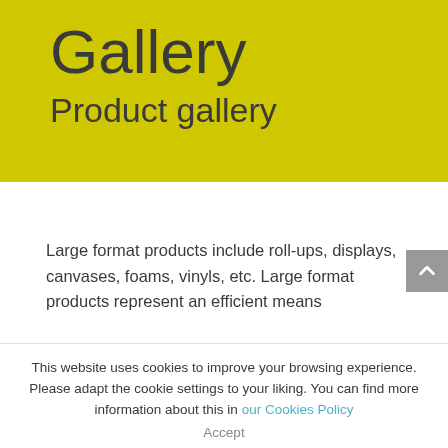Gallery
Product gallery
Large format products include roll-ups, displays, canvases, foams, vinyls, etc. Large format products represent an efficient means
This website uses cookies to improve your browsing experience. Please adapt the cookie settings to your liking. You can find more information about this in our Cookies Policy
Accept